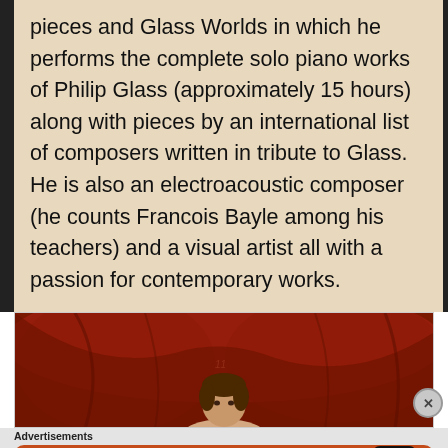pieces and Glass Worlds in which he performs the complete solo piano works of Philip Glass (approximately 15 hours) along with pieces by an international list of composers written in tribute to Glass.  He is also an electroacoustic composer (he counts Francois Bayle among his teachers) and a visual artist all with a passion for contemporary works.
[Figure (photo): A photo showing a person (partially visible head) against a red/dark dramatic background]
Advertisements
[Figure (infographic): DuckDuckGo advertisement banner with orange background reading: Search, browse, and email with more privacy. All in One Free App. Shows a smartphone with DuckDuckGo logo.]